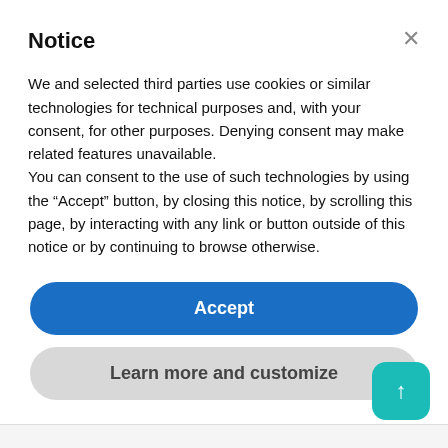Notice
We and selected third parties use cookies or similar technologies for technical purposes and, with your consent, for other purposes. Denying consent may make related features unavailable.
You can consent to the use of such technologies by using the “Accept” button, by closing this notice, by scrolling this page, by interacting with any link or button outside of this notice or by continuing to browse otherwise.
Accept
Learn more and customize
Third-Party Processors
includes the following but are not limited to Sendfox (https://sendfox.com), Facebook (https://facebook.com/policy.php...